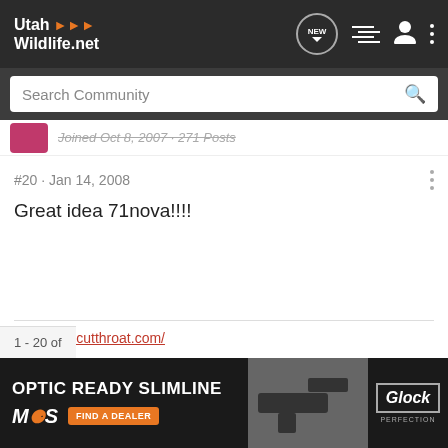Utah Wildlife.net
Search Community
Joined Oct 8, 2007 · 271 Posts
#20 · Jan 14, 2008
Great idea 71nova!!!!
http://utahcutthroat.com/
1 - 20 of
[Figure (photo): Advertisement banner for Glock Optic Ready Slimline MOS pistol with Find a Dealer CTA button]